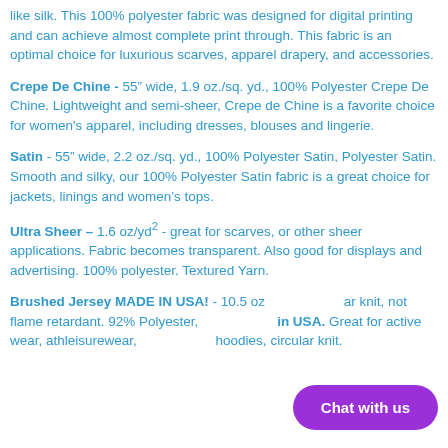like silk. This 100% polyester fabric was designed for digital printing and can achieve almost complete print through. This fabric is an optimal choice for luxurious scarves, apparel drapery, and accessories.
Crepe De Chine - 55" wide, 1.9 oz./sq. yd., 100% Polyester Crepe De Chine. Lightweight and semi-sheer, Crepe de Chine is a favorite choice for women's apparel, including dresses, blouses and lingerie.
Satin - 55" wide, 2.2 oz./sq. yd., 100% Polyester Satin, Polyester Satin. Smooth and silky, our 100% Polyester Satin fabric is a great choice for jackets, linings and women's tops.
Ultra Sheer – 1.6 oz/yd² - great for scarves, or other sheer applications. Fabric becomes transparent. Also good for displays and advertising. 100% polyester. Textured Yarn.
Brushed Jersey MADE IN USA! - 10.5 oz...ar knit, not flame retardant. 92% Polyester,...in USA. Great for active wear, athleisurewear,...hoodies, circular knit.